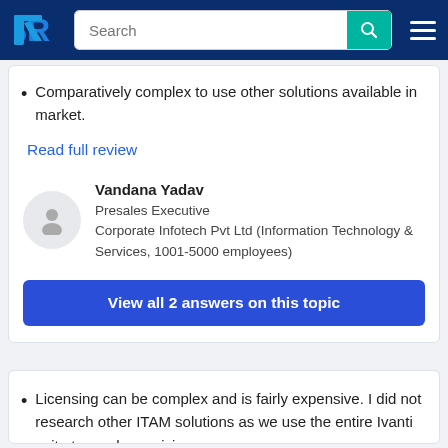[Figure (screenshot): TrustRadius website navigation bar with logo, search input, and hamburger menu]
Comparatively complex to use other solutions available in market.
Read full review
Vandana Yadav
Presales Executive
Corporate Infotech Pvt Ltd (Information Technology & Services, 1001-5000 employees)
View all 2 answers on this topic
Licensing can be complex and is fairly expensive. I did not research other ITAM solutions as we use the entire Ivanti suite to see how pricing